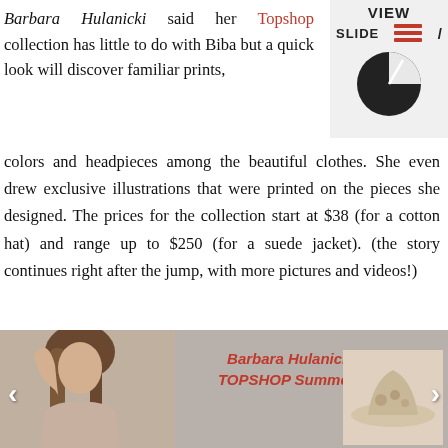Barbara Hulanicki said her Topshop collection has little to do with Biba but a quick look will discover familiar prints, colors and headpieces among the beautiful clothes. She even drew exclusive illustrations that were printed on the pieces she designed. The prices for the collection start at $38 (for a cotton hat) and range up to $250 (for a suede jacket). (the story continues right after the jump, with more pictures and videos!)
[Figure (screenshot): Slide view widget with hamburger menu icon and pie chart graphic]
[Figure (photo): Barbara Hulanicki For TOPSHOP Summer 2009 slideshow with fashion model photo on left, hat accessory photo on right, and navigation arrows]